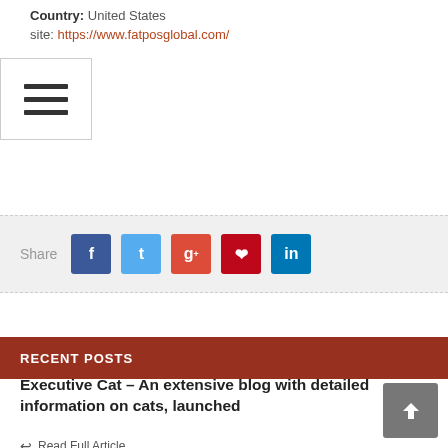Country: United States
Website: https://www.fatposglobal.com/
[Figure (other): Share bar with social media buttons: Facebook, Twitter, Google+, Pinterest, LinkedIn]
RECENT POSTS
Executive Cat – An extensive blog with detailed information on cats, launched
Read Full Article
Sportswar gets Belarus Gaming License
Sportswar becomes official partner of Georgian soccer club